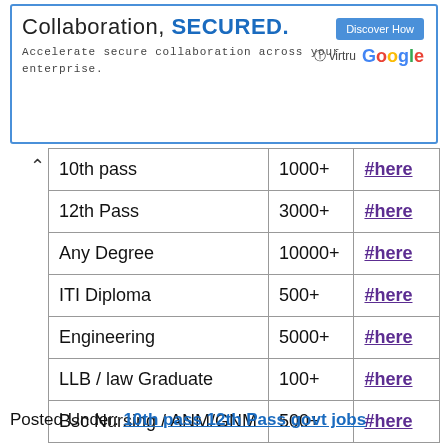[Figure (other): Advertisement banner: 'Collaboration, SECURED.' with tagline 'Accelerate secure collaboration across your enterprise.' Brands: Virtru and Google. Button: 'Discover How']
| 10th pass | 1000+ | #here |
| 12th Pass | 3000+ | #here |
| Any Degree | 10000+ | #here |
| ITI Diploma | 500+ | #here |
| Engineering | 5000+ | #here |
| LLB / law Graduate | 100+ | #here |
| Bsc Nursing / ANM/GNM | 500+ | #here |
Posted Under: 10th pass 12th Pass govt jobs